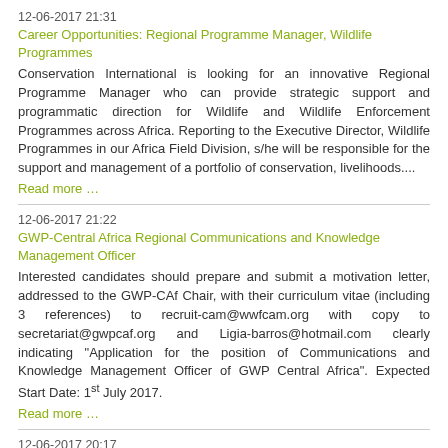12-06-2017 21:31
Career Opportunities: Regional Programme Manager, Wildlife Programmes
Conservation International is looking for an innovative Regional Programme Manager who can provide strategic support and programmatic direction for Wildlife and Wildlife Enforcement Programmes across Africa. Reporting to the Executive Director, Wildlife Programmes in our Africa Field Division, s/he will be responsible for the support and management of a portfolio of conservation, livelihoods....
Read more …
12-06-2017 21:22
GWP-Central Africa Regional Communications and Knowledge Management Officer
Interested candidates should prepare and submit a motivation letter, addressed to the GWP-CAf Chair, with their curriculum vitae (including 3 references) to recruit-cam@wwfcam.org with copy to secretariat@gwpcaf.org and Ligia-barros@hotmail.com clearly indicating "Application for the position of Communications and Knowledge Management Officer of GWP Central Africa". Expected Start Date: 1st July 2017.
Read more …
12-06-2017 20:17
WWF: Logistics Assistant- Jengi TNS Lobeke Programme
The World-Wide Fund for Nature seeks a Logistics Assistant- Jengi TNS Lobeke Programme. Deadline for applications: June 20th, 2017.
Read more …
06-06-2017 12:36
ZSL: Landscape Manager, Cameroon (Full-Time / 12 Months Fixed-Term